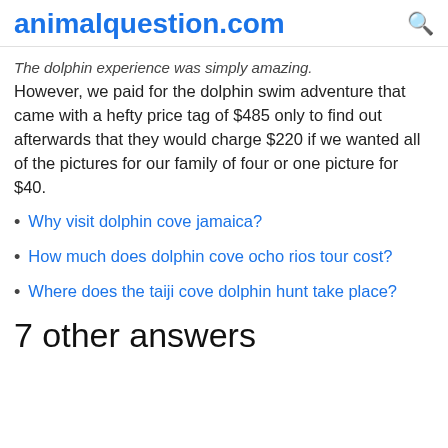animalquestion.com
The dolphin experience was simply amazing. However, we paid for the dolphin swim adventure that came with a hefty price tag of $485 only to find out afterwards that they would charge $220 if we wanted all of the pictures for our family of four or one picture for $40.
Why visit dolphin cove jamaica?
How much does dolphin cove ocho rios tour cost?
Where does the taiji cove dolphin hunt take place?
7 other answers